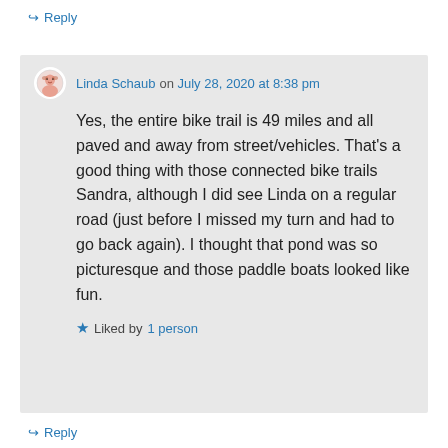↪ Reply
Linda Schaub on July 28, 2020 at 8:38 pm
Yes, the entire bike trail is 49 miles and all paved and away from street/vehicles. That's a good thing with those connected bike trails Sandra, although I did see Linda on a regular road (just before I missed my turn and had to go back again). I thought that pond was so picturesque and those paddle boats looked like fun.
★ Liked by 1 person
↪ Reply